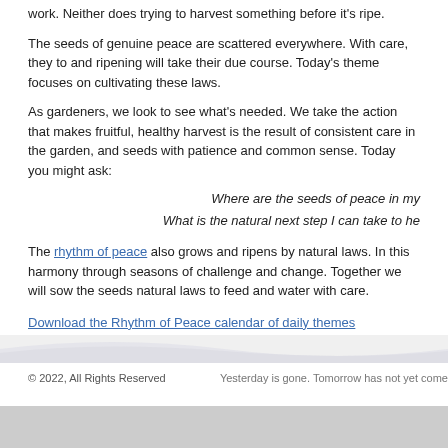work. Neither does trying to harvest something before it's ripe.
The seeds of genuine peace are scattered everywhere. With care, they to and ripening will take their due course. Today's theme focuses on cultivating these laws.
As gardeners, we look to see what's needed. We take the action that makes fruitful, healthy harvest is the result of consistent care in the garden, and seeds with patience and common sense. Today you might ask:
Where are the seeds of peace in my...
What is the natural next step I can take to he...
The rhythm of peace also grows and ripens by natural laws. In this harmony through seasons of challenge and change. Together we will sow the seeds natural laws to feed and water with care.
Download the Rhythm of Peace calendar of daily themes
Rhythm of Peace:  Cultivating Peace in Daily Life
Check back tomorrow for a new theme!
© 2022, All Rights Reserved  Yesterday is gone. Tomorrow has not yet come
Privacy Policy  Rhythm of Peace is a project of the Northwest Center for Health Promoti...